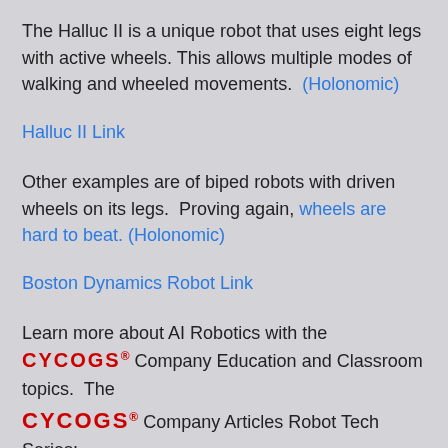The Halluc II is a unique robot that uses eight legs with active wheels. This allows multiple modes of walking and wheeled movements.  (Holonomic)
Halluc II Link
Other examples are of biped robots with driven wheels on its legs.  Proving again, wheels are hard to beat. (Holonomic)
Boston Dynamics Robot Link
Learn more about AI Robotics with the CYCOGS® Company Education and Classroom topics.  The CYCOGS® Company Articles Robot Tech Series:
Contact:  Send questions and comments about the